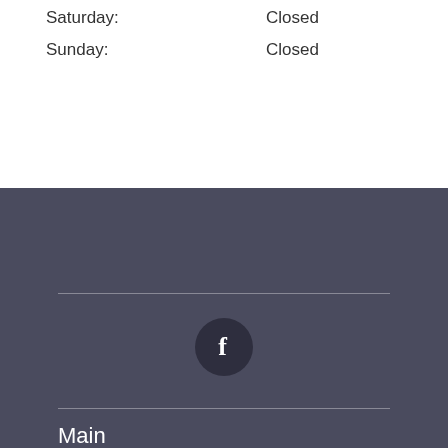Saturday: Closed
Sunday: Closed
[Figure (logo): Facebook icon — dark circle with white 'f' letter]
Main
Hours & Location
Our Eye Doctors
The Staff